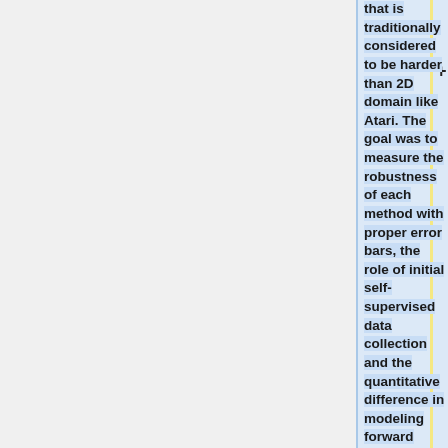that is traditionally considered to be harder than 2D domain like Atari. The goal was to measure the robustness of each method with proper error bars, the role of initial self-supervised data collection and the quantitative difference in modeling forward consistency loss in feature space in comparison to